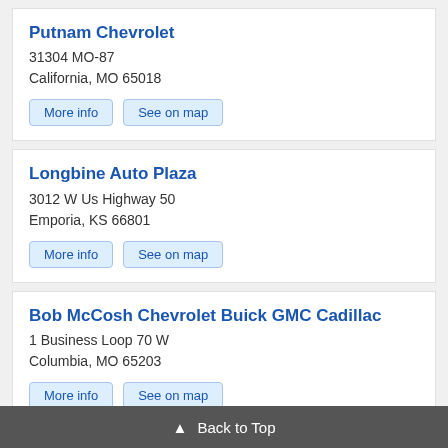Putnam Chevrolet
31304 MO-87
California, MO 65018
More info
See on map
Longbine Auto Plaza
3012 W Us Highway 50
Emporia, KS 66801
More info
See on map
Bob McCosh Chevrolet Buick GMC Cadillac
1 Business Loop 70 W
Columbia, MO 65203
More info
See on map
Jay Hatfield Chevrolet Buick GMC Cadillac
1401 W Beech St
Chanute, KS 66720
▲ Back to Top